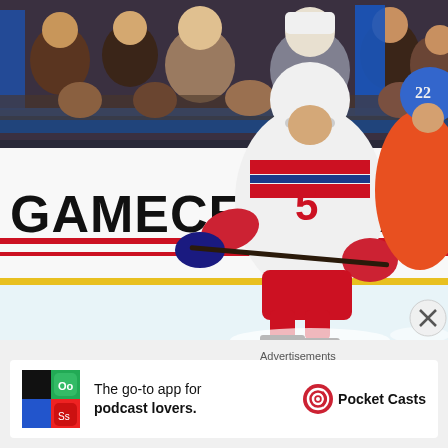[Figure (photo): Hockey action photo showing a New York Rangers player wearing white jersey with number 5, skating on ice near the boards with 'GAMECENTRE' advertisement visible. An opposing player in orange uniform is visible on the right. Crowd is visible in the background.]
Advertisements
[Figure (infographic): Advertisement for Pocket Casts app. Shows colorful app logo on left, text 'The go-to app for podcast lovers.' in center, and Pocket Casts logo with name on right.]